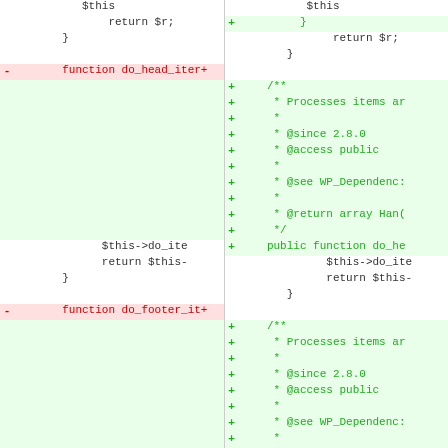[Figure (screenshot): Side-by-side code diff showing two PHP function definitions: do_head_iter and do_footer_items. Left pane shows removed lines (red minus markers) and right pane shows added lines (green plus markers) with added JSDoc comments and public function modifiers.]